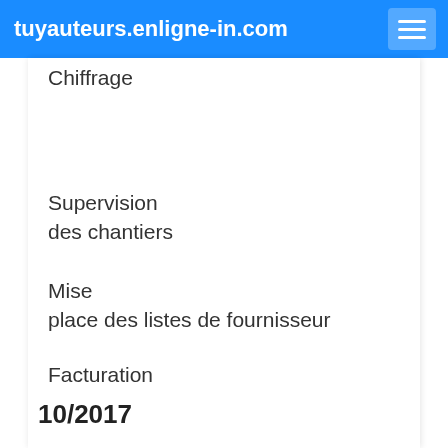tuyauteurs.enligne-in.com
Chiffrage
Supervision
des chantiers
Mise
place des listes de fournisseur
Facturation
10/2017